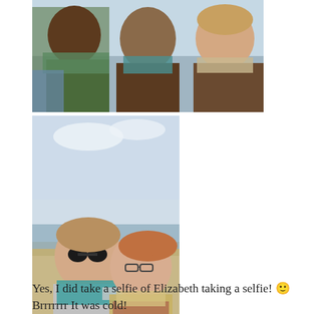[Figure (photo): Group selfie of three women outdoors wearing scarves and winter clothing]
[Figure (photo): Two women at a beach on a cold day, one wearing sunglasses and a teal scarf, the other wearing glasses and a yellow jacket]
Yes, I did take a selfie of Elizabeth taking a selfie! 🙂 Brrrrrrr It was cold!